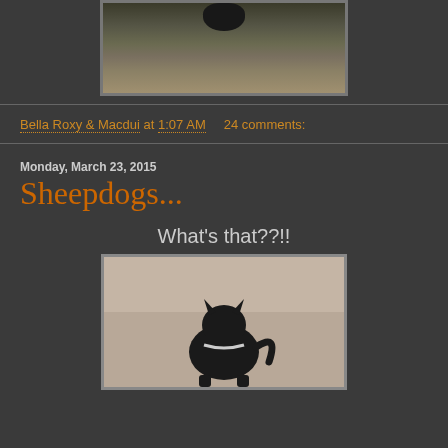[Figure (photo): A dark dog (likely a Scottish Terrier) photographed from above on a grass/dirt ground, partially visible at top of image]
Bella Roxy & Macdui at 1:07 AM    24 comments:
Monday, March 23, 2015
Sheepdogs...
What's that??!!
[Figure (photo): A black Scottish Terrier dog viewed from behind, sitting and facing away, on a gravel/dirt ground]